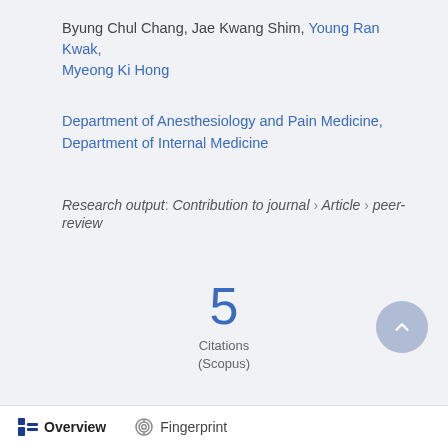Byung Chul Chang, Jae Kwang Shim, Young Ran Kwak, Myeong Ki Hong
Department of Anesthesiology and Pain Medicine, Department of Internal Medicine
Research output: Contribution to journal › Article › peer-review
5
Citations
(Scopus)
Overview   Fingerprint